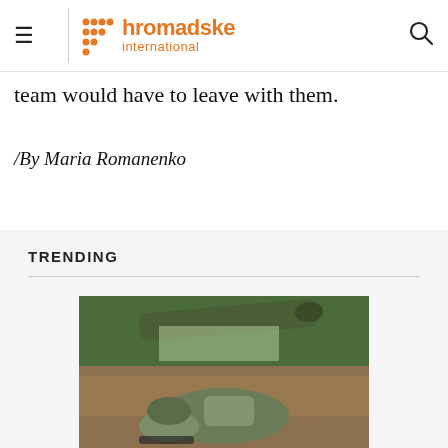hromadske international
team would have to leave with them.
/By Maria Romanenko
TRENDING
[Figure (photo): A soldier in camouflage gear lying prone in a trench or earthwork, with a large anti-tank missile launcher (green tube) positioned above/beside them, and trees visible in the background.]
Gorbachev's death: filled EU